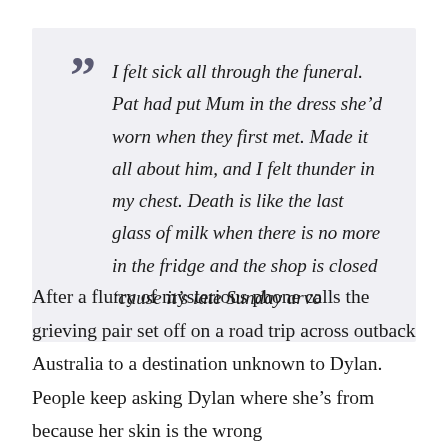“I felt sick all through the funeral. Pat had put Mum in the dress she’d worn when they first met. Made it all about him, and I felt thunder in my chest. Death is like the last glass of milk when there is no more in the fridge and the shop is closed ‘cause it’s late Sunday arvo
After a flurry of mysterious phone calls the grieving pair set off on a road trip across outback Australia to a destination unknown to Dylan. People keep asking Dylan where she’s from because her skin is the wrong